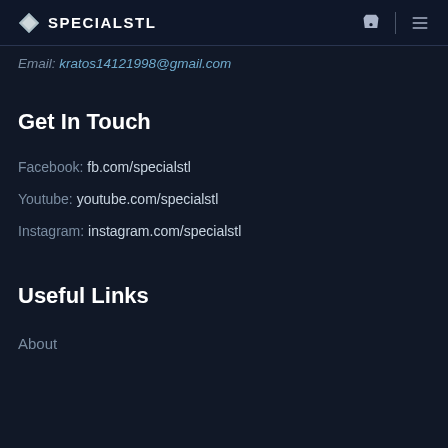SPECIALSTL
Email: kratos14121998@gmail.com
Get In Touch
Facebook: fb.com/specialstl
Youtube: youtube.com/specialstl
Instagram: instagram.com/specialstl
Useful Links
About